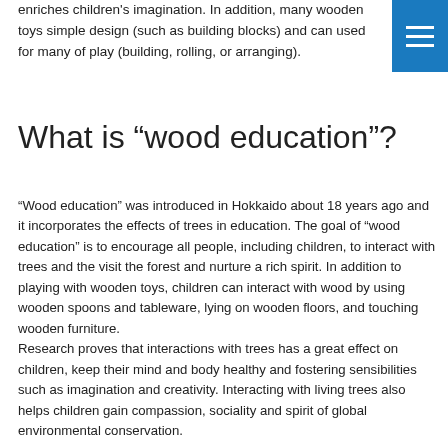enriches children's imagination. In addition, many wooden toys simple design (such as building blocks) and can used for many of play (building, rolling, or arranging).
[Figure (other): Blue navigation menu button with three white horizontal lines (hamburger icon) in the top-right corner]
What is “wood education”?
“Wood education” was introduced in Hokkaido about 18 years ago and it incorporates the effects of trees in education. The goal of “wood education” is to encourage all people, including children, to interact with trees and the visit the forest and nurture a rich spirit. In addition to playing with wooden toys, children can interact with wood by using wooden spoons and tableware, lying on wooden floors, and touching wooden furniture.
Research proves that interactions with trees has a great effect on children, keep their mind and body healthy and fostering sensibilities such as imagination and creativity. Interacting with living trees also helps children gain compassion, sociality and spirit of global environmental conservation.